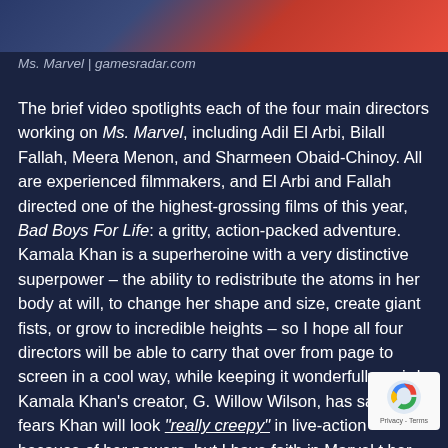[Figure (photo): Cropped image strip at top of page showing characters from Ms. Marvel with blue and red color tones]
Ms. Marvel | gamesradar.com
The brief video spotlights each of the four main directors working on Ms. Marvel, including Adil El Arbi, Bilall Fallah, Meera Menon, and Sharmeen Obaid-Chinoy. All are experienced filmmakers, and El Arbi and Fallah directed one of the highest-grossing films of this year, Bad Boys For Life: a gritty, action-packed adventure. Kamala Khan is a superheroine with a very distinctive superpower – the ability to redistribute the atoms in her body at will, to change her shape and size, create giant fists, or grow to incredible heights – so I hope all four directors will be able to carry that over from page to screen in a cool way, while keeping it wonderfully weird. Kamala Khan's creator, G. Willow Wilson, has said she fears Khan will look "really creepy" in live-action because of her powers, but I have faith in Marvel t her justice.